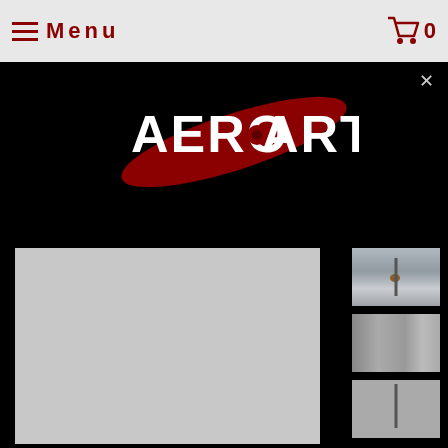Menu  0
[Figure (logo): AEROART logo on black background with red propeller/wing graphic behind white text]
[Figure (photo): Main large product image placeholder (light gray) showing aerospace art piece]
[Figure (photo): Thumbnail 1: vertical metal piece with brown accent on light background]
[Figure (photo): Thumbnail 2: metallic curved piece on light background]
[Figure (photo): Thumbnail 3: vertical metal sculpture on light background]